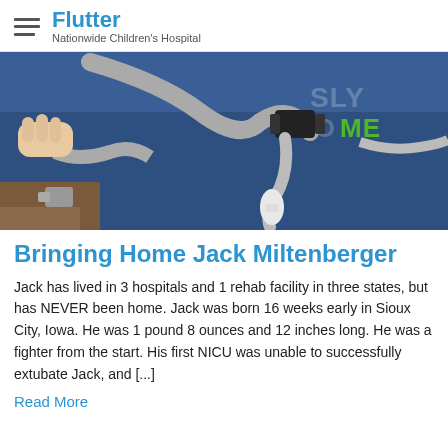Flutter — Nationwide Children's Hospital
[Figure (photo): Close-up photo of a child in a blue shirt with green 'ME' text, holding medical respiratory tubing/ventilator equipment]
Bringing Home Jack Miltenberger
Jack has lived in 3 hospitals and 1 rehab facility in three states, but has NEVER been home. Jack was born 16 weeks early in Sioux City, Iowa. He was 1 pound 8 ounces and 12 inches long. He was a fighter from the start. His first NICU was unable to successfully extubate Jack, and [...]
Read More